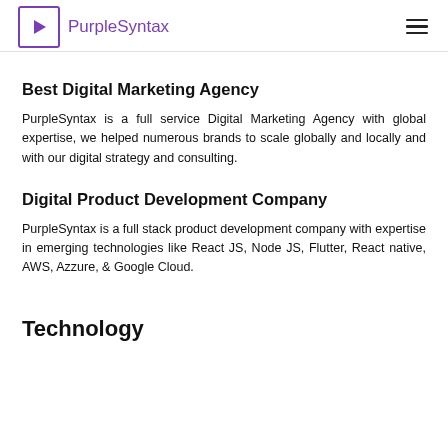PurpleSyntax
Best Digital Marketing Agency
PurpleSyntax is a full service Digital Marketing Agency with global expertise, we helped numerous brands to scale globally and locally and with our digital strategy and consulting.
Digital Product Development Company
PurpleSyntax is a full stack product development company with expertise in emerging technologies like React JS, Node JS, Flutter, React native, AWS, Azzure, & Google Cloud.
Technology